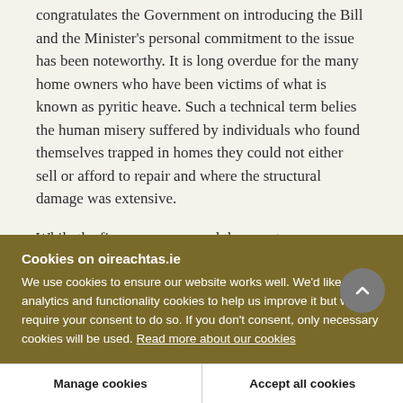congratulates the Government on introducing the Bill and the Minister's personal commitment to the issue has been noteworthy. It is long overdue for the many home owners who have been victims of what is known as pyritic heave. Such a technical term belies the human misery suffered by individuals who found themselves trapped in homes they could not either sell or afford to repair and where the structural damage was extensive.
While the figures vary around the country, some
Cookies on oireachtas.ie
We use cookies to ensure our website works well. We'd like to use analytics and functionality cookies to help us improve it but we require your consent to do so. If you don't consent, only necessary cookies will be used. Read more about our cookies
Manage cookies
Accept all cookies